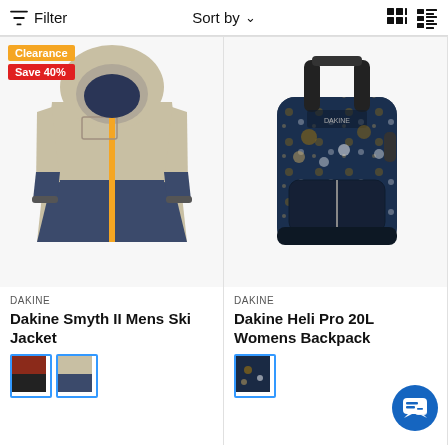Filter   Sort by   (grid/list view icons)
[Figure (photo): Dakine Smyth II Mens Ski Jacket — beige/navy colorblock ski jacket with orange zipper, hooded. Clearance badge (orange) and Save 40% badge (red) overlaid top-left.]
DAKINE
Dakine Smyth II Mens Ski Jacket
[Figure (photo): Two color swatch thumbnails of the Dakine Smyth II Mens Ski Jacket: red/dark version and beige/navy version. Selected swatch outlined in blue.]
[Figure (photo): Dakine Heli Pro 20L Womens Backpack — black backpack with dark blue floral/bird print pattern.]
DAKINE
Dakine Heli Pro 20L Womens Backpack
[Figure (photo): One color swatch thumbnail of Dakine Heli Pro 20L backpack in dark floral print, outlined in blue.]